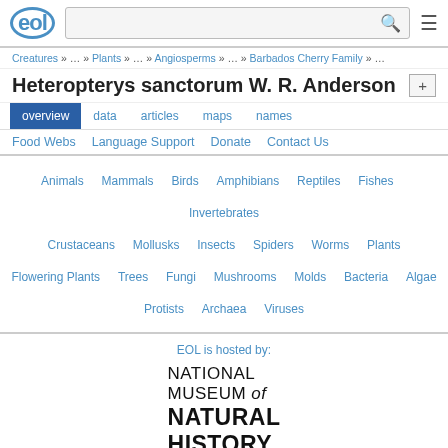EOL Encyclopedia of Life — header with search
Creatures » … » Plants » … » Angiosperms » … » Barbados Cherry Family » …
Heteropterys sanctorum W. R. Anderson
overview   data   articles   maps   names
Food Webs   Language Support   Donate   Contact Us
Animals   Mammals   Birds   Amphibians   Reptiles   Fishes   Invertebrates   Crustaceans   Mollusks   Insects   Spiders   Worms   Plants   Flowering Plants   Trees   Fungi   Mushrooms   Molds   Bacteria   Algae   Protists   Archaea   Viruses
EOL is hosted by:
[Figure (logo): National Museum of Natural History, Smithsonian logo]